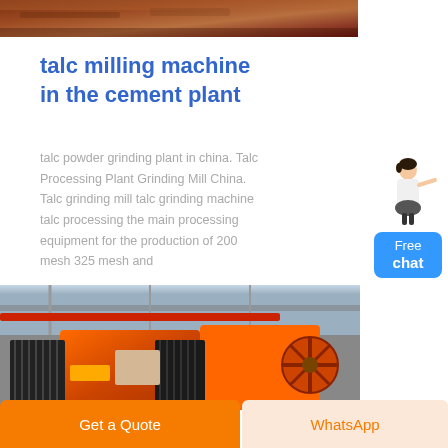[Figure (photo): Top partial image of industrial/factory interior with reddish-brown tones]
talc milling machine in the cement plant
talc powder grinding plant in china. Talc Processing Plant Grinding Mill China. Talc grinding mill talc grinding machine talc processing the main processing equipment for the production of 200 mesh 325 mesh and
[Figure (photo): Industrial machinery photo showing orange crusher/mill equipment with black components in a factory setting]
[Figure (illustration): Free chat widget with a person illustration and blue button labeled Free chat]
Get a Quote
WhatsApp